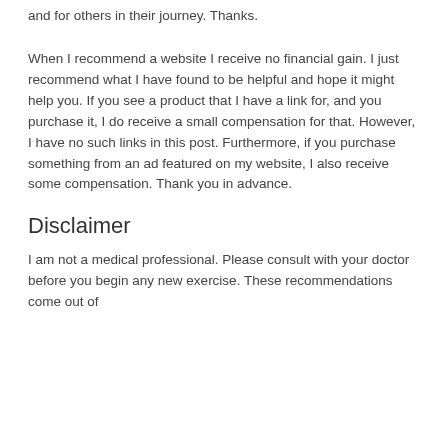and for others in their journey.  Thanks.
When I recommend a website I receive no financial gain.  I just recommend what I have found to be helpful and hope it might help you.  If you see a product that I have a link for, and you purchase it, I do receive a small compensation for that. However, I have no such links in this post.  Furthermore, if you purchase something from an ad featured on my website, I also receive some compensation.  Thank you in advance.
Disclaimer
I am not a medical professional.  Please consult with your doctor before you begin any new exercise.  These recommendations come out of